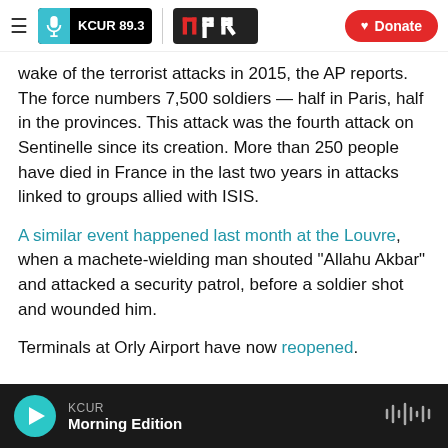KCUR 89.3 | npr | Donate
wake of the terrorist attacks in 2015, the AP reports. The force numbers 7,500 soldiers — half in Paris, half in the provinces. This attack was the fourth attack on Sentinelle since its creation. More than 250 people have died in France in the last two years in attacks linked to groups allied with ISIS.
A similar event happened last month at the Louvre, when a machete-wielding man shouted "Allahu Akbar" and attacked a security patrol, before a soldier shot and wounded him.
Terminals at Orly Airport have now reopened.
KCUR Morning Edition